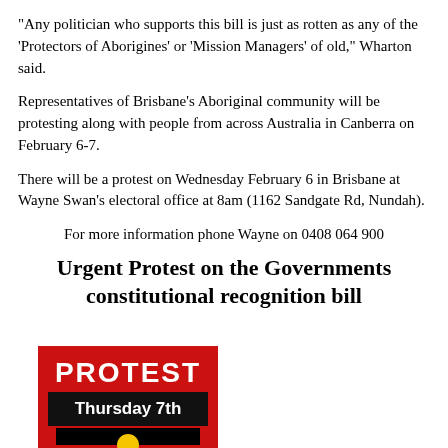“Any politician who supports this bill is just as rotten as any of the 'Protectors of Aborigines' or 'Mission Managers' of old,” Wharton said.
Representatives of Brisbane’s Aboriginal community will be protesting along with people from across Australia in Canberra on February 6-7.
There will be a protest on Wednesday February 6 in Brisbane at Wayne Swan’s electoral office at 8am (1162 Sandgate Rd, Nundah).
For more information phone Wayne on 0408 064 900
Urgent Protest on the Governments constitutional recognition bill
[Figure (illustration): Protest flyer showing red background with bold white text 'PROTEST', a black sign reading 'Thursday 7th', and an Aboriginal flag (black top half, red bottom half, yellow circle in center).]